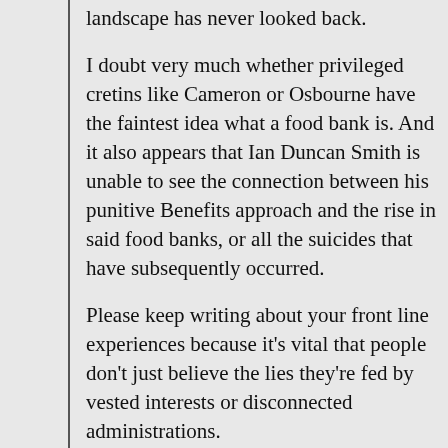landscape has never looked back.
I doubt very much whether privileged cretins like Cameron or Osbourne have the faintest idea what a food bank is. And it also appears that Ian Duncan Smith is unable to see the connection between his punitive Benefits approach and the rise in said food banks, or all the suicides that have subsequently occurred.
Please keep writing about your front line experiences because it’s vital that people don’t just believe the lies they’re fed by vested interests or disconnected administrations.
Best Wishes
Derek